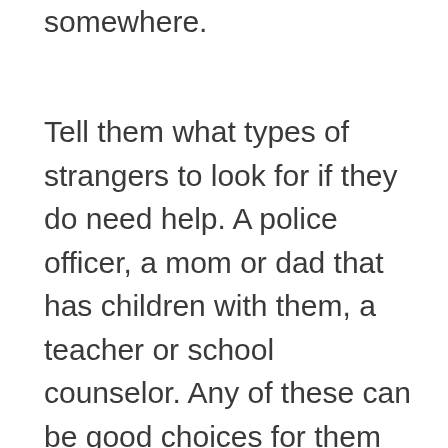somewhere.
Tell them what types of strangers to look for if they do need help. A police officer, a mom or dad that has children with them, a teacher or school counselor. Any of these can be good choices for them to start with when seeking help.